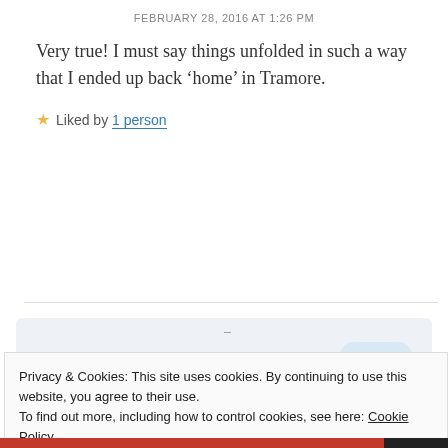FEBRUARY 28, 2016 AT 1:26 PM
Very true! I must say things unfolded in such a way that I ended up back ‘home’ in Tramore.
Liked by 1 person
[Figure (screenshot): WordPress 'Get the App' promotional banner with WordPress logo]
Privacy & Cookies: This site uses cookies. By continuing to use this website, you agree to their use. To find out more, including how to control cookies, see here: Cookie Policy
Close and accept